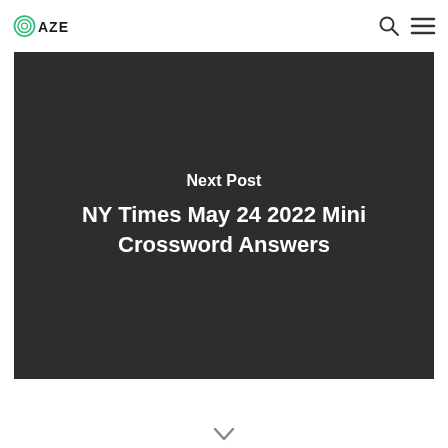OAZE
[Figure (illustration): Dark card with Next Post label and title NY Times May 24 2022 Mini Crossword Answers]
Next Post
NY Times May 24 2022 Mini Crossword Answers